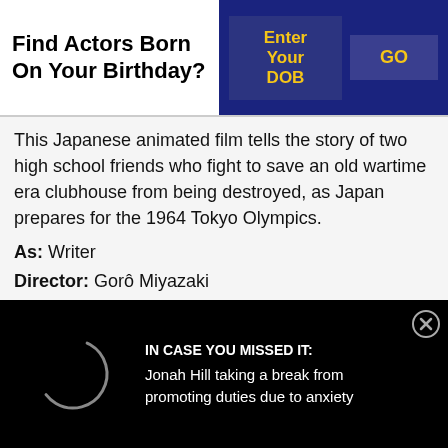Find Actors Born On Your Birthday?
Enter Your DOB
GO
This Japanese animated film tells the story of two high school friends who fight to save an old wartime era clubhouse from being destroyed, as Japan prepares for the 1964 Tokyo Olympics.
As: Writer
Director: Gorô Miyazaki
Genres: Family, Drama, Animation
Star Cast: Ron Howard, Bruce Dern, Emily Osment, Isabelle Fuhrman, Jamie Lee Curtis, Yuriko Ishida, Rumi Hi...
IN CASE YOU MISSED IT: Jonah Hill taking a break from promoting duties due to anxiety